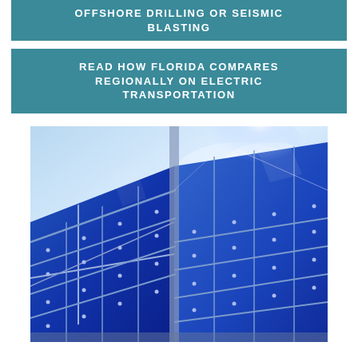OFFSHORE DRILLING OR SEISMIC BLASTING
READ HOW FLORIDA COMPARES REGIONALLY ON ELECTRIC TRANSPORTATION
[Figure (photo): Close-up photo of blue solar panels against a bright sky with sunlight glare, angled perspective showing grid of photovoltaic cells]